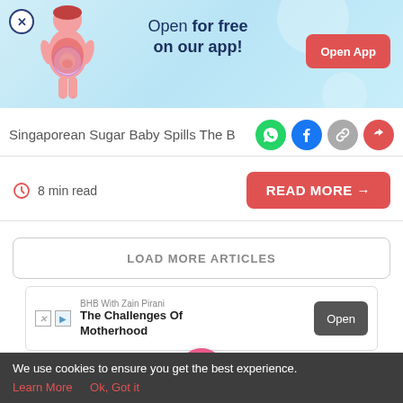[Figure (screenshot): App promotion banner with pregnant woman illustration, 'Open for free on our app!' text and 'Open App' button]
Singaporean Sugar Baby Spills The B
[Figure (screenshot): Social share icons: WhatsApp (green), Facebook (dark blue), link (gray), share (red)]
8 min read
[Figure (screenshot): Red 'READ MORE →' button]
[Figure (screenshot): LOAD MORE ARTICLES button (outlined)]
[Figure (screenshot): Ad banner: BHB With Zain Pirani - The Challenges Of Motherhood, Open button]
[Figure (screenshot): Bottom navigation bar with Tools, Articles, home (pink circle with baby feet), Feed, Poll icons]
We use cookies to ensure you get the best experience.
Learn More    Ok, Got it